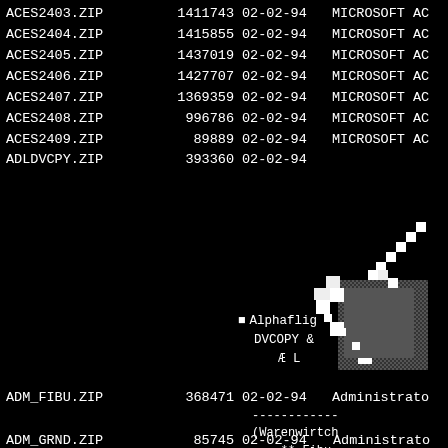| Filename | Size | Date | Description |
| --- | --- | --- | --- |
| ACES2403.ZIP | 1411743 | 02-02-94 | MICROSOFT AC |
| ACES2404.ZIP | 1415855 | 02-02-94 | MICROSOFT AC |
| ACES2405.ZIP | 1437019 | 02-02-94 | MICROSOFT AC |
| ACES2406.ZIP | 1427707 | 02-02-94 | MICROSOFT AC |
| ACES2407.ZIP | 1369359 | 02-02-94 | MICROSOFT AC |
| ACES2408.ZIP | 996786 | 02-02-94 | MICROSOFT AC |
| ACES2409.ZIP | 89889 | 02-02-94 | MICROSOFT AC |
| ADLDVCPY.ZIP | 393360 | 02-02-94 |  |
[Figure (screenshot): Pixelated mouse cursor icon on black background]
Alphaflig DVCOPY & Æ L
| Filename | Size | Date | Description |
| --- | --- | --- | --- |
| ADM_FIBU.ZIP | 368471 | 02-02-94 | Administrato |
------------ (Warenwirtch ** Fibu (Also DL: AD except: AD
| Filename | Size | Date | Description |
| --- | --- | --- | --- |
| ADM_GRND.ZIP | 85745 | 02-02-94 | Administrato |